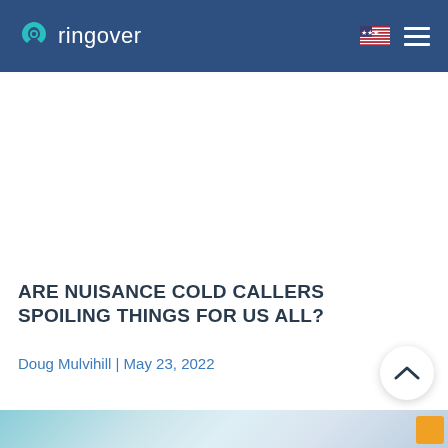ringover
ARE NUISANCE COLD CALLERS SPOILING THINGS FOR US ALL?
Doug Mulvihill | May 23, 2022